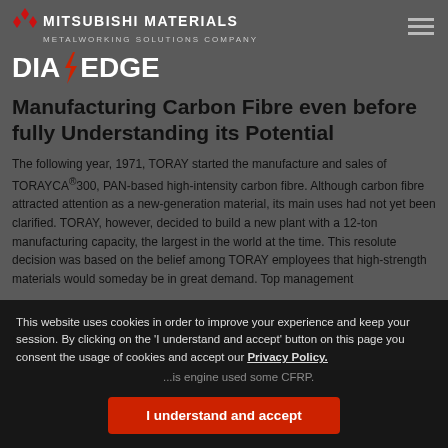MITSUBISHI MATERIALS METALWORKING SOLUTIONS COMPANY
DIA EDGE
Manufacturing Carbon Fibre even before fully Understanding its Potential
The following year, 1971, TORAY started the manufacture and sales of TORAYCA®300, PAN-based high-intensity carbon fibre. Although carbon fibre attracted attention as a new-generation material, its main uses had not yet been clarified. TORAY, however, decided to build a new plant with a 12-ton manufacturing capacity, the largest in the world at the time. This resolute decision was based on the belief among TORAY employees that high-strength materials would someday be in great demand. Top management...
This website uses cookies in order to improve your experience and keep your session. By clicking on the 'I understand and accept' button on this page you consent the usage of cookies and accept our Privacy Policy.
I understand and accept
Meanwhile, TORAY's first foray increased to...some already